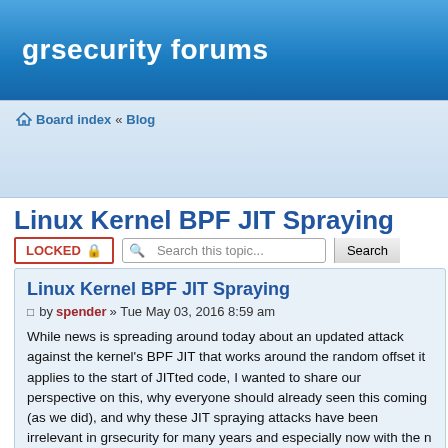grsecurity forums
Board index « Blog
Linux Kernel BPF JIT Spraying
LOCKED | Search this topic... Search
Linux Kernel BPF JIT Spraying
by spender » Tue May 03, 2016 8:59 am
While news is spreading around today about an updated attack against the kernel's BPF JIT that works around the random offset it applies to the start of JITted code, I wanted to share our perspective on this, why everyone should already seen this coming (as we did), and why these JIT spraying attacks have been irrelevant in grsecurity for many years and especially now with the new RAP.
For the curious, the updated attack has been published at https://github.com/01org/jit-spray-poc-for-ksp and is based off the initial p...